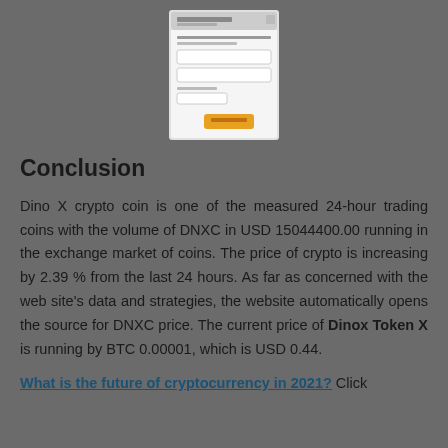[Figure (screenshot): A screenshot of a web form or interface with text fields and an orange/yellow button at the bottom, shown on a gray background.]
Conclusion
Dino X crypto coin is one of the measured 24-hour trading coins with the volume of DNXC in USD 15044400.00 running in the exchange market of coins. The price of crypto is increasing by 2.39 % from the last 24 hours. As far as concerned with the web site's data and strategies, the website automatically opens the source for DNXC price. The current price of Dinox Token X is running by BTC 0.00001, which is USD 0.44.
What is the future of cryptocurrency in 2021? Click